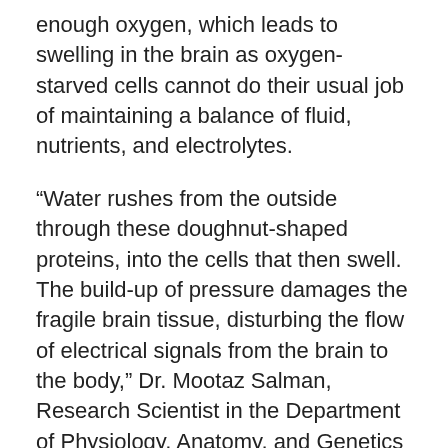enough oxygen, which leads to swelling in the brain as oxygen-starved cells cannot do their usual job of maintaining a balance of fluid, nutrients, and electrolytes.
“Water rushes from the outside through these doughnut-shaped proteins, into the cells that then swell. The build-up of pressure damages the fragile brain tissue, disturbing the flow of electrical signals from the brain to the body,” Dr. Mootaz Salman, Research Scientist in the Department of Physiology, Anatomy, and Genetics at the University of Oxford and the corresponding author on this studysaid in a release.
“Edema, which is swelling due to water or other body fluids accumulating in the cells of or from